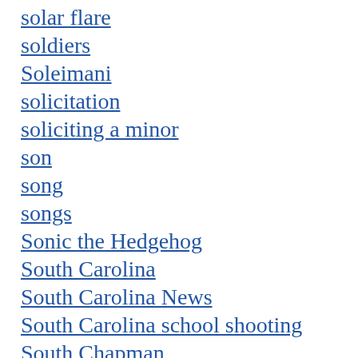solar flare
soldiers
Soleimani
solicitation
soliciting a minor
son
song
songs
Sonic the Hedgehog
South Carolina
South Carolina News
South Carolina school shooting
South Chapman
South Stokes High School
Southern Lunch